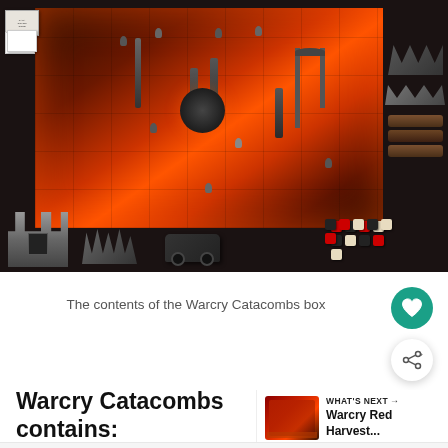[Figure (photo): Photo showing the contents of the Warcry Catacombs board game box: a game board with orange/lava-themed terrain, miniature figures, ruined castle terrain pieces, spike terrain, log terrain, rulebook, and sets of red, black, and cream colored dice.]
The contents of the Warcry Catacombs box
Warcry Catacombs contains:
WHAT'S NEXT → Warcry Red Harvest...